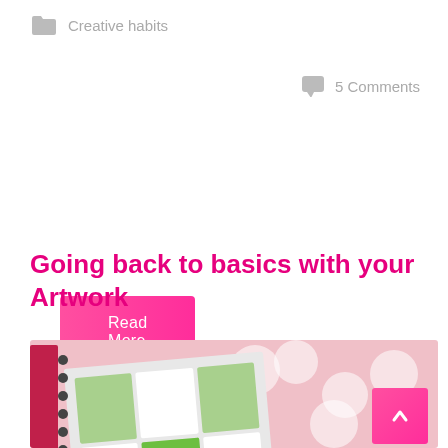Creative habits
5 Comments
Read More
Going back to basics with your Artwork
[Figure (photo): Close-up photo of an open sketchbook/planner with illustrated character cards on a pink polka-dot background]